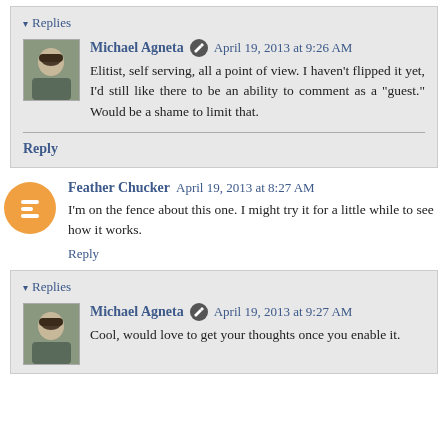▾ Replies
Michael Agneta  April 19, 2013 at 9:26 AM
Elitist, self serving, all a point of view. I haven't flipped it yet, I'd still like there to be an ability to comment as a "guest." Would be a shame to limit that.
Reply
Feather Chucker  April 19, 2013 at 8:27 AM
I'm on the fence about this one. I might try it for a little while to see how it works.
Reply
▾ Replies
Michael Agneta  April 19, 2013 at 9:27 AM
Cool, would love to get your thoughts once you enable it.